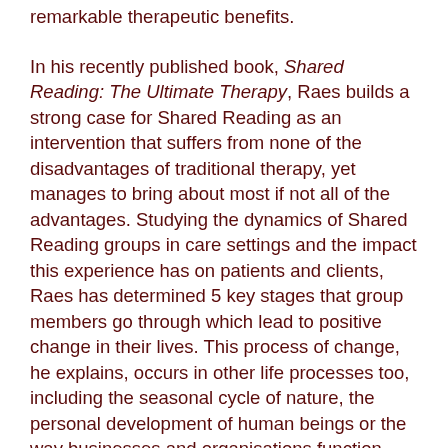remarkable therapeutic benefits.
In his recently published book, Shared Reading: The Ultimate Therapy, Raes builds a strong case for Shared Reading as an intervention that suffers from none of the disadvantages of traditional therapy, yet manages to bring about most if not all of the advantages. Studying the dynamics of Shared Reading groups in care settings and the impact this experience has on patients and clients, Raes has determined 5 key stages that group members go through which lead to positive change in their lives. This process of change, he explains, occurs in other life processes too, including the seasonal cycle of nature, the personal development of human beings or the way businesses and organisations function. Each stage forms the focus of one of the book's five chapters and draws comparisons between Shared Reading and other, established therapy practices within care settings. The five stages are: 1. Stage One 2. Stage Two 3. Stage Three 4.